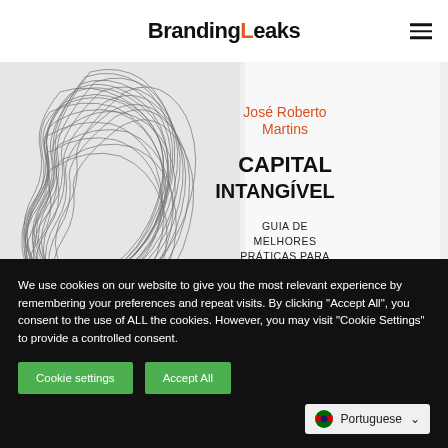BrandingLeaks
[Figure (illustration): Book cover of 'Capital Intangível' by José Roberto Martins. Left half shows a black-and-white wire-frame illustration of a human head profile. Right side has white background with red vertical bar on far right. Author name 'José Roberto Martins' in orange/red text at top right. Title 'CAPITAL INTANGÍVEL' in large bold black text in center. Subtitle 'GUIA DE MELHORES PRÁTICAS PARA A AVALIAÇÃO' in smaller black text at bottom right.]
We use cookies on our website to give you the most relevant experience by remembering your preferences and repeat visits. By clicking "Accept All", you consent to the use of ALL the cookies. However, you may visit "Cookie Settings" to provide a controlled consent.
Cookie settings
Accept All
Portuguese